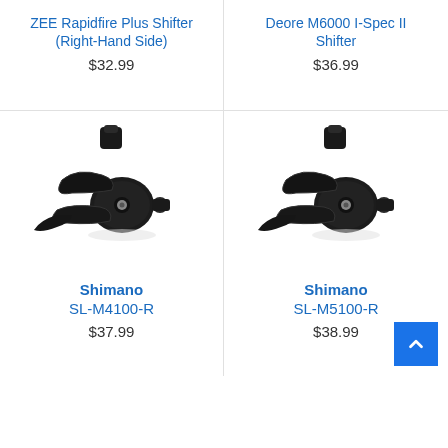ZEE Rapidfire Plus Shifter (Right-Hand Side)
$32.99
Deore M6000 I-Spec II Shifter
$36.99
[Figure (photo): Shimano SL-M4100-R bike shifter, black, right-hand side]
[Figure (photo): Shimano SL-M5100-R bike shifter, black, right-hand side]
Shimano SL-M4100-R
$37.99
Shimano SL-M5100-R
$38.99